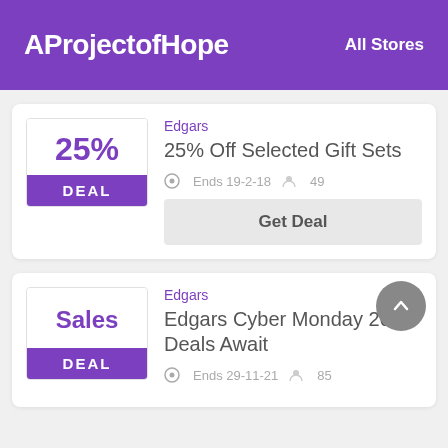AProjectofHope — All Stores
Edgars
25% Off Selected Gift Sets
Ends 19-2-18  49
Get Deal
Edgars
Edgars Cyber Monday 2021 Deals Await
Ends 29-11-21  85